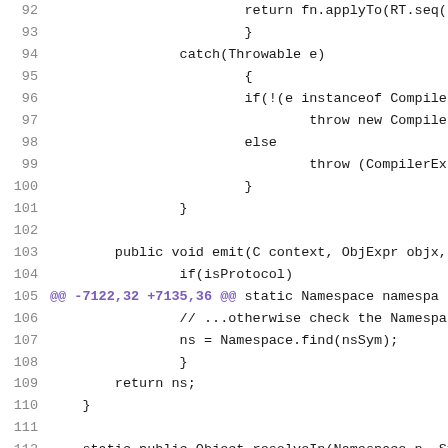[Figure (screenshot): Code listing showing Java source code lines 92-114 from a diff view. Line 105 is a diff hunk header shown in purple/violet. Lines show code for exception handling, emit method, namespace resolution.]